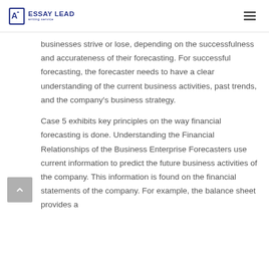ESSAY LEAD writing service
businesses strive or lose, depending on the successfulness and accurateness of their forecasting. For successful forecasting, the forecaster needs to have a clear understanding of the current business activities, past trends, and the company's business strategy.
Case 5 exhibits key principles on the way financial forecasting is done. Understanding the Financial Relationships of the Business Enterprise Forecasters use current information to predict the future business activities of the company. This information is found on the financial statements of the company. For example, the balance sheet provides a